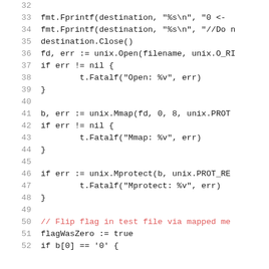Code snippet lines 32-52 in Go programming language showing file operations with fmt.Fprintf, destination.Close(), unix.Open, unix.Mmap, unix.Mprotect, and flagWasZero assignment.